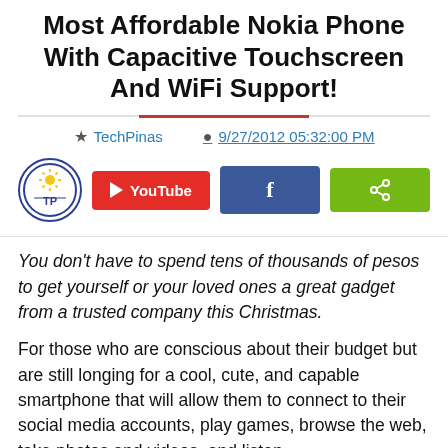Most Affordable Nokia Phone With Capacitive Touchscreen And WiFi Support!
TechPinas   9/27/2012 05:32:00 PM
[Figure (logo): TechPinas circular logo with sun and TP letters, YouTube red button, Facebook blue button, green share button]
You don't have to spend tens of thousands of pesos to get yourself or your loved ones a great gadget from a trusted company this Christmas.
For those who are conscious about their budget but are still longing for a cool, cute, and capable smartphone that will allow them to connect to their social media accounts, play games, browse the web, take photos and videos, and listen